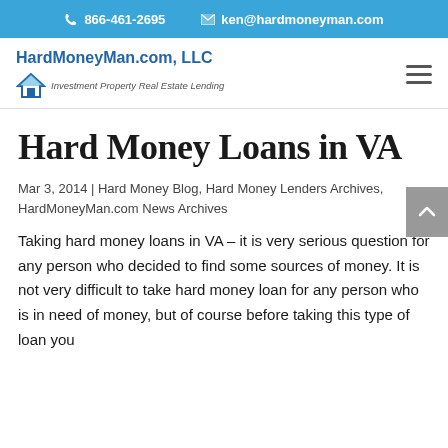866-461-2695   ken@hardmoneyman.com
[Figure (logo): HardMoneyMan.com, LLC logo with house icon and tagline 'Investment Property Real Estate Lending']
Hard Money Loans in VA
Mar 3, 2014 | Hard Money Blog, Hard Money Lenders Archives, HardMoneyMan.com News Archives
Taking hard money loans in VA – it is very serious question for any person who decided to find some sources of money. It is not very difficult to take hard money loan for any person who is in need of money, but of course before taking this type of loan you